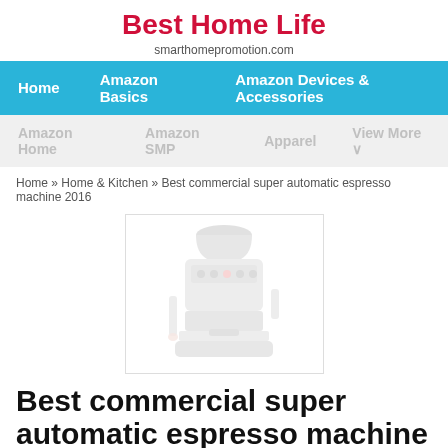Best Home Life
smarthomepromotion.com
Home   Amazon Basics   Amazon Devices & Accessories
Amazon Home   Amazon SMP   Apparel   View More
Home » Home & Kitchen » Best commercial super automatic espresso machine 2016
[Figure (photo): Photo of a commercial super automatic espresso machine, shown in light gray/silver tones]
Best commercial super automatic espresso machine